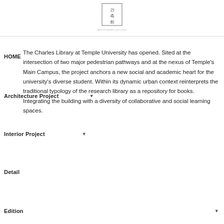건축화 (logo/brand icon)
HOME
The Charles Library at Temple University has opened. Sited at the intersection of two major pedestrian pathways and at the nexus of Temple's Main Campus, the project anchors a new social and academic heart for the university's diverse student. Within its dynamic urban context reinterprets the traditional typology of the research library as a repository for books. Integrating the building with a diversity of collaborative and social learning spaces.
Architecture Project
Interior Project
Detail
Edition
About
[Figure (photo): Exterior photograph of the Charles Library at Temple University, a modern building with glass facade, brick and metal cladding, curved base elements, photographed at dusk with blue sky and city skyline in background. Overlaid with navigation menu rows: A&C Magazine, MasilWIDE, Subscriptions, and social media links: Facebook, Instagram, Twitter, RSS.]